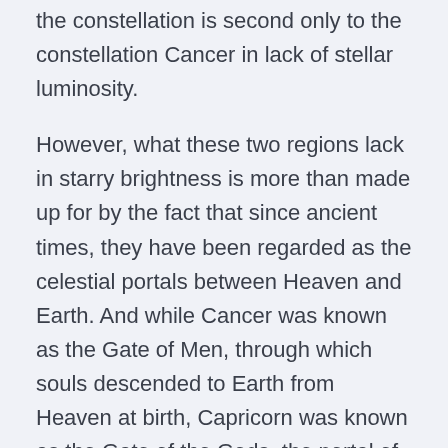the constellation is second only to the constellation Cancer in lack of stellar luminosity.
However, what these two regions lack in starry brightness is more than made up for by the fact that since ancient times, they have been regarded as the celestial portals between Heaven and Earth. And while Cancer was known as the Gate of Men, through which souls descended to Earth from Heaven at birth, Capricorn was known as the Gate of the Gods, the portal of ascension through which souls of the departed ascended back to Heaven ~ and here stands Mars.
Mars as guardian at this gateway of the gods in the midnight hour is like the first sounding out of a